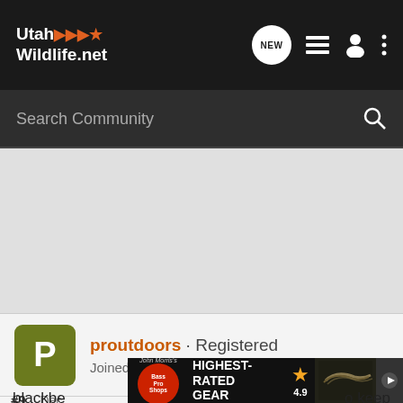UtahWildlife.net
Search Community
proutdoors · Registered
Joined Sep 23, 2007 · 12,174 Posts
#9 · Dec [date]
blackbe... o keep
[Figure (screenshot): Bass Pro Shops advertisement banner: HIGHEST-RATED GEAR with 4.9 star rating and product image]